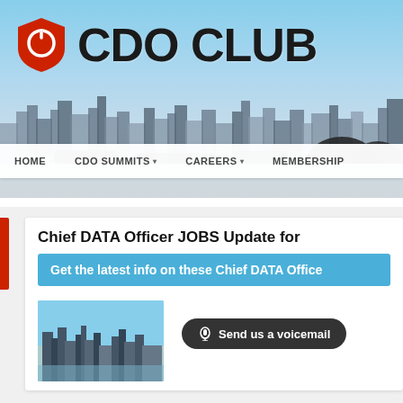[Figure (screenshot): CDO Club website hero banner showing city skyline background with CDO Club logo (red shield with power icon and bold CDO CLUB text)]
CDO CLUB
HOME   CDO SUMMITS ▾   CAREERS ▾   MEMBERSHIP
Chief DATA Officer JOBS Update for
Get the latest info on these Chief DATA Office
[Figure (photo): City skyline thumbnail photo]
🎤 Send us a voicemail